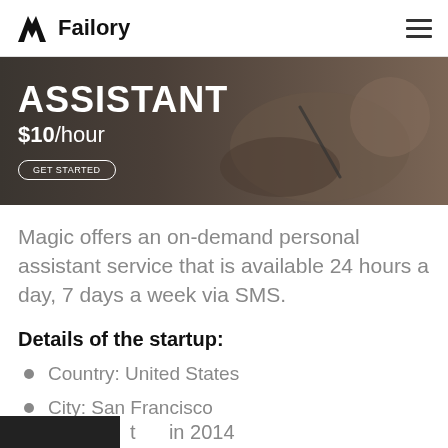Failory
[Figure (photo): Banner image showing a person writing, with text overlay: ASSISTANT $10/hour and GET STARTED button]
Magic offers an on-demand personal assistant service that is available 24 hours a day, 7 days a week via SMS.
Details of the startup:
Country: United States
City: San Francisco